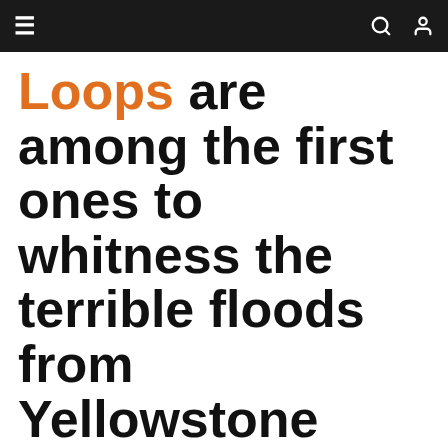≡  🔍 👤
Loops are among the first ones to whitness the terrible floods from Yellowstone River in Montana.
More than 20 years ago, I had the luck to spend fall in Montana, I remember I had met a girl who was living in Paradise Valley, we use to drive to Livingstone and go to Murray Bar to spend the evening, it was fun and during the best fishing with Michael Fontana (RIP), I was